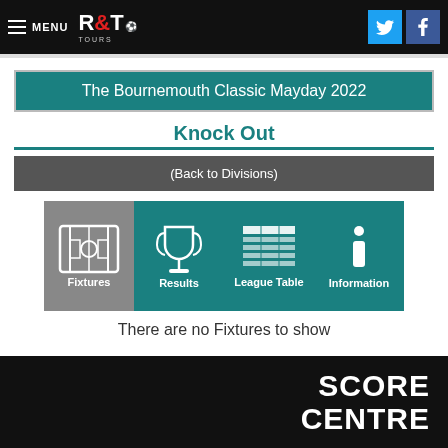MENU R&T TOURS
The Bournemouth Classic Mayday 2022
Knock Out
(Back to Divisions)
[Figure (infographic): Four navigation icon buttons: Fixtures (football pitch icon, grey), Results (trophy icon, teal), League Table (table icon, teal), Information (info icon, teal)]
There are no Fixtures to show
SCORE CENTRE